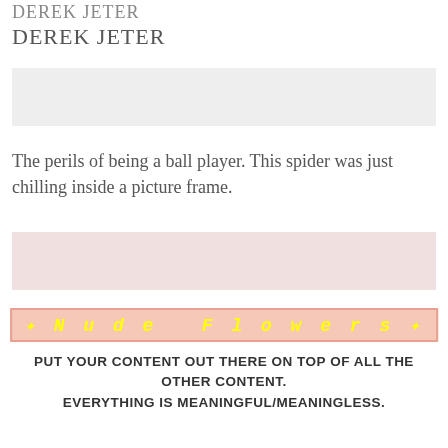DEREK JETER
DEREK JETER
[Figure (photo): Gray placeholder image box (first)]
The perils of being a ball player. This spider was just chilling inside a picture frame.
[Figure (photo): Light pink/gray placeholder image box (second)]
✦Nude Flowers✦
PUT YOUR CONTENT OUT THERE ON TOP OF ALL THE OTHER CONTENT.
EVERYTHING IS MEANINGFUL/MEANINGLESS.